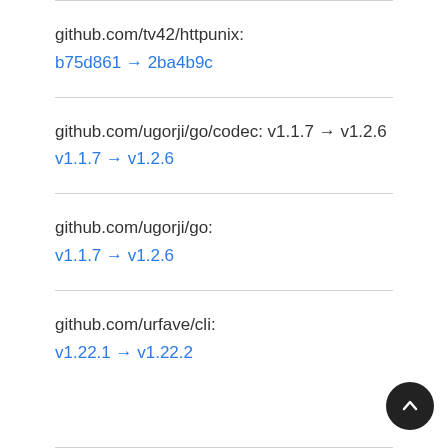github.com/tv42/httpunix: b75d861 → 2ba4b9c
github.com/ugorji/go/codec: v1.1.7 → v1.2.6
github.com/ugorji/go: v1.1.7 → v1.2.6
github.com/urfave/cli: v1.22.1 → v1.22.2